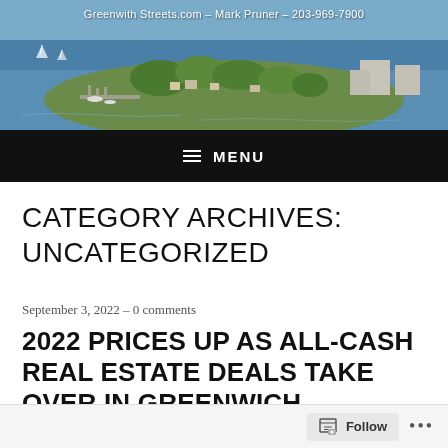[Figure (photo): Aerial photograph of Greenwich, CT waterfront with boats, marina, houses and trees on a peninsula surrounded by blue water. Header text reads: Greenwith Streets.com – Mark Pruner – 203-969-7900]
≡  MENU
CATEGORY ARCHIVES: UNCATEGORIZED
September 3, 2022 - 0 comments
2022 PRICES UP AS ALL-CASH REAL ESTATE DEALS TAKE OVER IN GREENWICH
Follow  •••